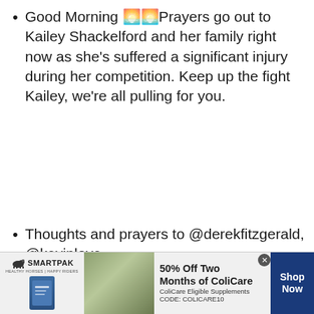Good Morning 🌅🌅Prayers go out to Kailey Shackelford and her family right now as she's suffered a significant injury during her competition. Keep up the fight Kailey, we're all pulling for you.
Thoughts and prayers to @derekfitzgerald, @kevinlove, @RondaRousey and all of those...
[Figure (other): SmartPak advertisement banner: 50% Off Two Months of ColiCare, ColiCare Eligible Supplements, CODE: COLICARE10, with Shop Now button. Shows SmartPak logo and horse/rider image.]